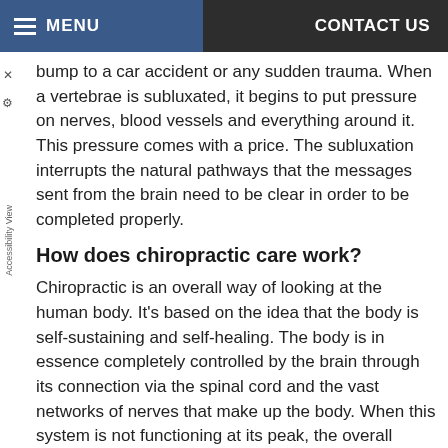MENU   CONTACT US
bump to a car accident or any sudden trauma. When a vertebrae is subluxated, it begins to put pressure on nerves, blood vessels and everything around it. This pressure comes with a price. The subluxation interrupts the natural pathways that the messages sent from the brain need to be clear in order to be completed properly.
How does chiropractic care work?
Chiropractic is an overall way of looking at the human body. It's based on the idea that the body is self-sustaining and self-healing. The body is in essence completely controlled by the brain through its connection via the spinal cord and the vast networks of nerves that make up the body. When this system is not functioning at its peak, the overall performance of the human body is lacking.
In the chiropractic world, drugs and medicine are not utilized as a form of treating a patient. While supplementation and nutrition are almost always a part of